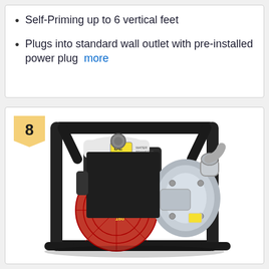Self-Priming up to 6 vertical feet
Plugs into standard wall outlet with pre-installed power plug  more
[Figure (photo): Honda GX series gasoline-powered water pump (BE brand) with a red Honda engine, silver pump housing, and black tubular steel frame. Number 8 badge in top-left corner.]